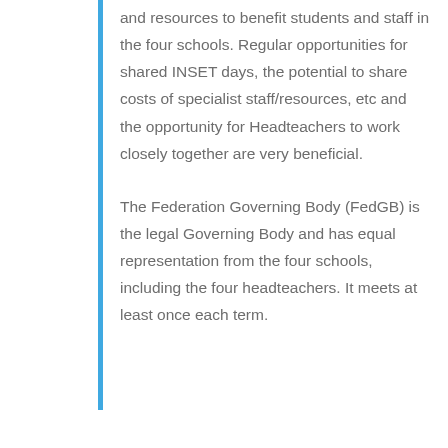and resources to benefit students and staff in the four schools. Regular opportunities for shared INSET days, the potential to share costs of specialist staff/resources, etc and the opportunity for Headteachers to work closely together are very beneficial.
The Federation Governing Body (FedGB) is the legal Governing Body and has equal representation from the four schools, including the four headteachers. It meets at least once each term.